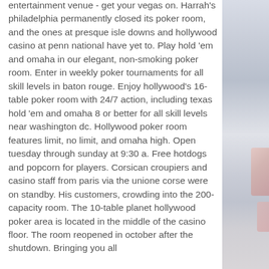entertainment venue - get your vegas on. Harrah's philadelphia permanently closed its poker room, and the ones at presque isle downs and hollywood casino at penn national have yet to. Play hold 'em and omaha in our elegant, non-smoking poker room. Enter in weekly poker tournaments for all skill levels in baton rouge. Enjoy hollywood's 16-table poker room with 24/7 action, including texas hold 'em and omaha 8 or better for all skill levels near washington dc. Hollywood poker room features limit, no limit, and omaha high. Open tuesday through sunday at 9:30 a. Free hotdogs and popcorn for players. Corsican croupiers and casino staff from paris via the unione corse were on standby. His customers, crowding into the 200-capacity room. The 10-table planet hollywood poker area is located in the middle of the casino floor. The room reopened in october after the shutdown. Bringing you all